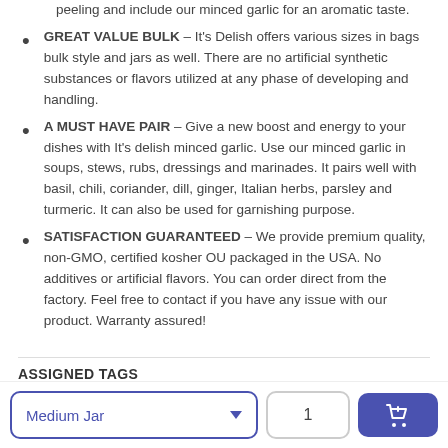peeling and include our minced garlic for an aromatic taste.
GREAT VALUE BULK – It's Delish offers various sizes in bags bulk style and jars as well. There are no artificial synthetic substances or flavors utilized at any phase of developing and handling.
A MUST HAVE PAIR – Give a new boost and energy to your dishes with It's delish minced garlic. Use our minced garlic in soups, stews, rubs, dressings and marinades. It pairs well with basil, chili, coriander, dill, ginger, Italian herbs, parsley and turmeric. It can also be used for garnishing purpose.
SATISFACTION GUARANTEED – We provide premium quality, non-GMO, certified kosher OU packaged in the USA. No additives or artificial flavors. You can order direct from the factory. Feel free to contact if you have any issue with our product. Warranty assured!
ASSIGNED TAGS
Medium Jar | 1 | Add to cart